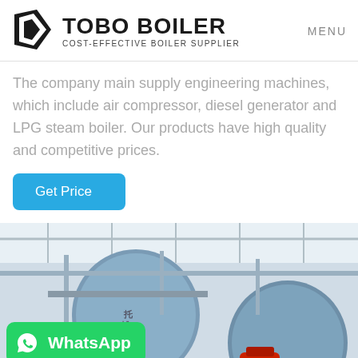TOBO BOILER COST-EFFECTIVE BOILER SUPPLIER
The company main supply engineering machines, which include air compressor, diesel generator and LPG steam boiler. Our products have high quality and competitive prices.
Get Price
[Figure (photo): Industrial boiler equipment inside a factory/warehouse setting, showing large cylindrical blue boilers with pipes and structural supports. A WhatsApp badge overlay appears in the bottom-left corner.]